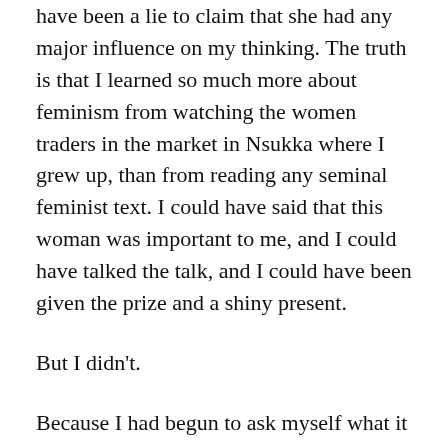have been a lie to claim that she had any major influence on my thinking. The truth is that I learned so much more about feminism from watching the women traders in the market in Nsukka where I grew up, than from reading any seminal feminist text. I could have said that this woman was important to me, and I could have talked the talk, and I could have been given the prize and a shiny present.
But I didn't.
Because I had begun to ask myself what it really means to wear this FEMINIST label so publicly.
Just as I asked myself after excerpts of my feminism speech were used in a song by a talented musician whom I think some of you might know. I thought it was a very good thing that the word ‘feminist’ would be introduced to a new generation.
But I was startled by how many people, many of whom were academics, saw something troubling, even